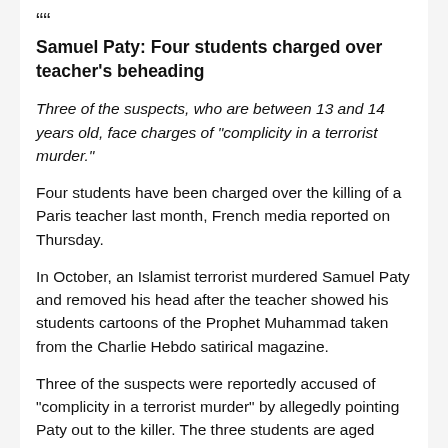Samuel Paty: Four students charged over teacher's beheading
Three of the suspects, who are between 13 and 14 years old, face charges of "complicity in a terrorist murder."
Four students have been charged over the killing of a Paris teacher last month, French media reported on Thursday.
In October, an Islamist terrorist murdered Samuel Paty and removed his head after the teacher showed his students cartoons of the Prophet Muhammad taken from the Charlie Hebdo satirical magazine.
Three of the suspects were reportedly accused of "complicity in a terrorist murder" by allegedly pointing Paty out to the killer. The three students are aged between 13 and 14 years old, French news agency AFP reported.